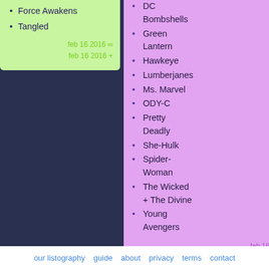Force Awakens
Tangled
feb 16 2016 ∞
feb 16 2016 +
DC Bombshells
Green Lantern
Hawkeye
Lumberjanes
Ms. Marvel
ODY-C
Pretty Deadly
She-Hulk
Spider-Woman
The Wicked + The Divine
Young Avengers
feb 16 2016 ∞
feb 16 2016 +
con
me
pan rec
psy
suit ove no b follo </3
our listography   guide   about   privacy   terms   contact